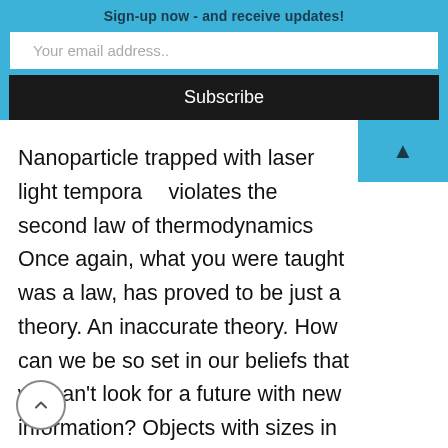Sign-up now - and receive updates!
Your email address..
Subscribe
Nanoparticle trapped with laser light temporarily violates the second law of thermodynamics Once again, what you were taught was a law, has proved to be just a theory. An inaccurate theory. How can we be so set in our beliefs that we can't look for a future with new information? Objects with sizes in the nanometer range, such as the ... Read More